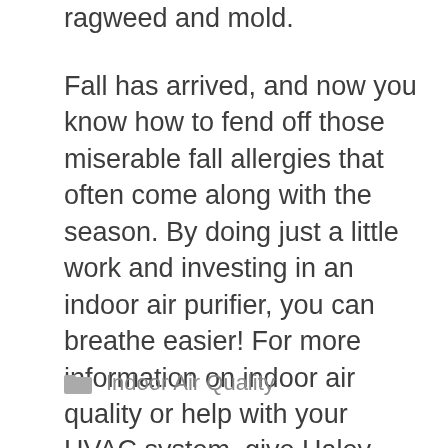ragweed and mold.
Fall has arrived, and now you know how to fend off those miserable fall allergies that often come along with the season. By doing just a little work and investing in an indoor air purifier, you can breathe easier! For more information on indoor air quality or help with your HVAC system, give Haley Mechanical a call today.
Indoor Air Quality